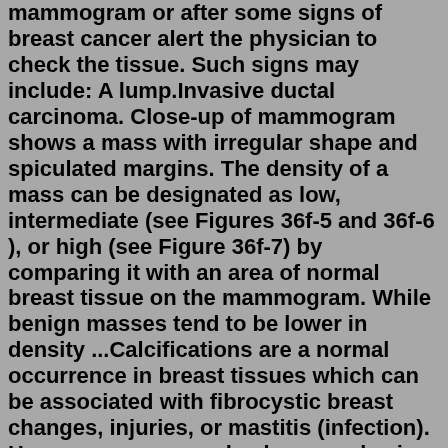mammogram or after some signs of breast cancer alert the physician to check the tissue. Such signs may include: A lump.Invasive ductal carcinoma. Close-up of mammogram shows a mass with irregular shape and spiculated margins. The density of a mass can be designated as low, intermediate (see Figures 36f-5 and 36f-6 ), or high (see Figure 36f-7) by comparing it with an area of normal breast tissue on the mammogram. While benign masses tend to be lower in density ...Calcifications are a normal occurrence in breast tissues which can be associated with fibrocystic breast changes, injuries, or mastitis (infection). However some can also be an early sign of breast cancer. Because of this, radiologists closely study microcalcifications found on mammograms. Are clustered microcalcifications always cancerous? Should I worry about calcifications in breast? Breast calcifications can indicate early breast cancer, which highlights the importance of having regular screening mammograms. However, most calcifications are benign and do not need any follow-up investigations